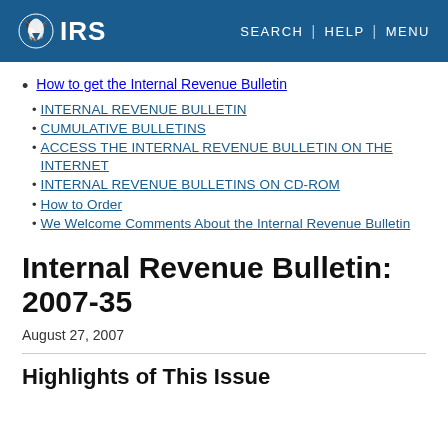IRS | SEARCH | HELP | MENU
How to get the Internal Revenue Bulletin
INTERNAL REVENUE BULLETIN
CUMULATIVE BULLETINS
ACCESS THE INTERNAL REVENUE BULLETIN ON THE INTERNET
INTERNAL REVENUE BULLETINS ON CD-ROM
How to Order
We Welcome Comments About the Internal Revenue Bulletin
Internal Revenue Bulletin: 2007-35
August 27, 2007
Highlights of This Issue